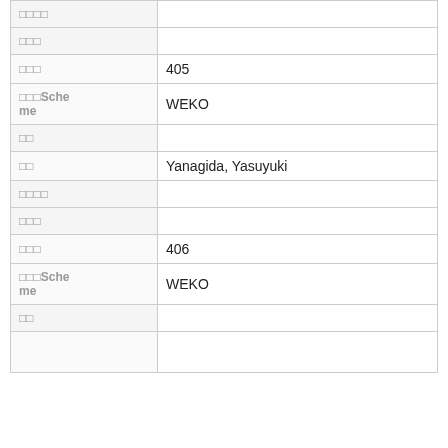| □□□□ |  |
| □□□ |  |
| □□□ | 405 |
| □□□Scheme me | WEKO |
| □□ |  |
| □□ | Yanagida, Yasuyuki |
| □□□□ |  |
| □□□ |  |
| □□□ | 406 |
| □□□Scheme me | WEKO |
| □□ |  |